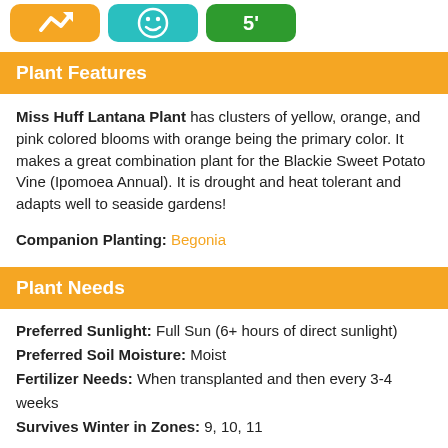[Figure (other): Three icon boxes: orange icon, teal smiley icon, green box with '5']
Plant Features
Miss Huff Lantana Plant has clusters of yellow, orange, and pink colored blooms with orange being the primary color. It makes a great combination plant for the Blackie Sweet Potato Vine (Ipomoea Annual). It is drought and heat tolerant and adapts well to seaside gardens!
Companion Planting: Begonia
Plant Needs
Preferred Sunlight: Full Sun (6+ hours of direct sunlight)
Preferred Soil Moisture: Moist
Fertilizer Needs: When transplanted and then every 3-4 weeks
Survives Winter in Zones: 9, 10, 11